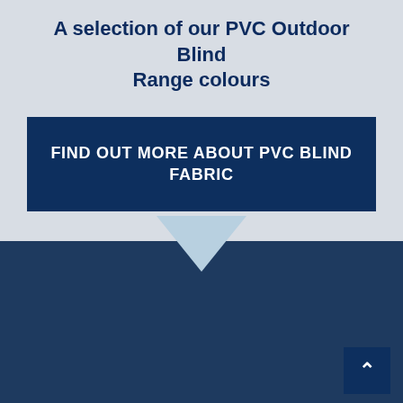A selection of our PVC Outdoor Blind Range colours
FIND OUT MORE ABOUT PVC BLIND FABRIC
[Figure (infographic): Light blue downward-pointing chevron/triangle divider between the top light-grey section and the lower dark-navy section]
CRANK BLINDS - PVC SAMPLER